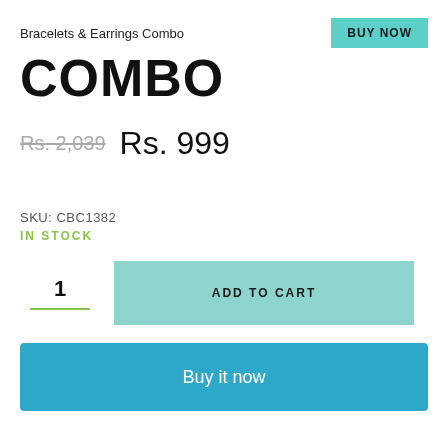Bracelets & Earrings Combo
COMBO
Rs. 2,039  Rs. 999
SKU: CBC1382
IN STOCK
1  ADD TO CART
Buy it now